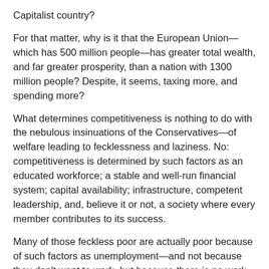Capitalist country?
For that matter, why is it that the European Union—which has 500 million people—has greater total wealth, and far greater prosperity, than a nation with 1300 million people? Despite, it seems, taxing more, and spending more?
What determines competitiveness is nothing to do with the nebulous insinuations of the Conservatives—of welfare leading to fecklessness and laziness. No: competitiveness is determined by such factors as an educated workforce; a stable and well-run financial system; capital availability; infrastructure, competent leadership, and, believe it or not, a society where every member contributes to its success.
Many of those feckless poor are actually poor because of such factors as unemployment—and not because they don't want to work, but because there is no work—because of disability or sickness, and because of social problems. None of those will be solved by cutting benefits; on the contrary, doing so will aggravate the problem. Nor is this to say, however, that benefits are the solution. The poor need